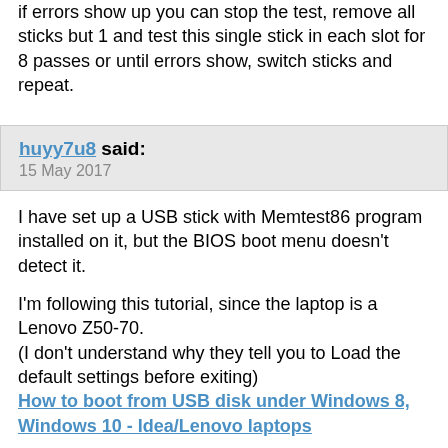if errors show up you can stop the test, remove all sticks but 1 and test this single stick in each slot for 8 passes or until errors show, switch sticks and repeat.
huyy7u8 said:
15 May 2017
I have set up a USB stick with Memtest86 program installed on it, but the BIOS boot menu doesn't detect it.

I'm following this tutorial, since the laptop is a Lenovo Z50-70.
(I don't understand why they tell you to Load the default settings before exiting)
How to boot from USB disk under Windows 8, Windows 10 - Idea/Lenovo laptops
javadth1 said:
15 May 2017
Originally Posted by Sonar637